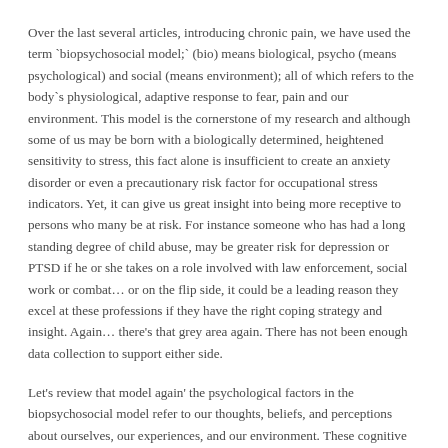Over the last several articles,  introducing chronic pain, we have used the term `biopsychosocial model;` (bio) means biological, psycho (means psychological) and social (means environment); all of which refers to the body`s physiological, adaptive response to fear, pain and our environment. This model is the cornerstone of my research and although some of us may be born with a biologically determined, heightened sensitivity to stress, this fact alone is insufficient to create an anxiety disorder or even a precautionary risk factor for occupational stress indicators. Yet, it can give us great insight into being more receptive to persons who many be at risk. For instance someone who has had a long standing degree of child abuse, may be greater risk for depression or PTSD if he or she takes on a role involved with law enforcement, social work or combat… or on the flip side, it could be a leading reason they excel at these professions if they have the right coping strategy and insight. Again… there's that grey area again. There has not been enough data collection to support either side.
Let's review that model again' the psychological factors in the biopsychosocial model refer to our thoughts, beliefs, and perceptions about ourselves, our experiences, and our environment. These cognitive patterns affect our perceived sense of control over our environment, and affect the way we assess and interpret events as either threatening or non-threatening; which are highly subjective.